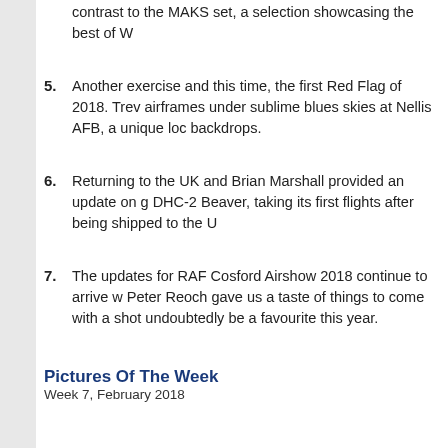4. ...contrast to the MAKS set, a selection showcasing the best of W...
5. Another exercise and this time, the first Red Flag of 2018. Trev... airframes under sublime blues skies at Nellis AFB, a unique loc... backdrops.
6. Returning to the UK and Brian Marshall provided an update on g... DHC-2 Beaver, taking its first flights after being shipped to the U...
7. The updates for RAF Cosford Airshow 2018 continue to arrive w... Peter Reoch gave us a taste of things to come with a shot... undoubtedly be a favourite this year.
Pictures Of The Week
Week 7, February 2018